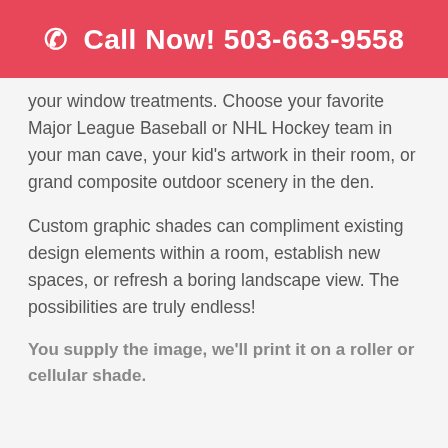☎ Call Now! 503-663-9558
your window treatments. Choose your favorite Major League Baseball or NHL Hockey team in your man cave, your kid's artwork in their room, or grand composite outdoor scenery in the den.
Custom graphic shades can compliment existing design elements within a room, establish new spaces, or refresh a boring landscape view. The possibilities are truly endless!
You supply the image, we'll print it on a roller or cellular shade.
ROLLER SHADES INSTALLATION FOR EVERY TASTE AND STYLE